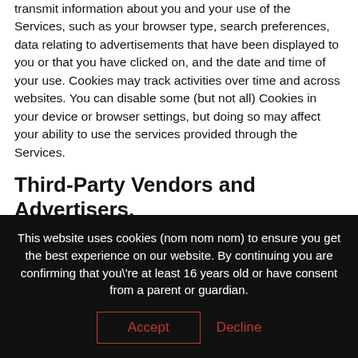transmit information about you and your use of the Services, such as your browser type, search preferences, data relating to advertisements that have been displayed to you or that you have clicked on, and the date and time of your use. Cookies may track activities over time and across websites. You can disable some (but not all) Cookies in your device or browser settings, but doing so may affect your ability to use the services provided through the Services.
Third-Party Vendors and Advertisers.
Learn English Network may use third-party vendors or advertisers to collect and analyze information about your use of the Services. These third-parties may use cookies or
This website uses cookies (nom nom nom) to ensure you get the best experience on our website. By continuing you are confirming that you\'re at least 16 years old or have consent from a parent or guardian.